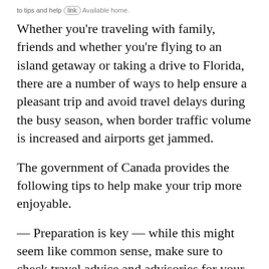… tips to help [link] Available home.
Whether you're traveling with family, friends and whether you're flying to an island getaway or taking a drive to Florida, there are a number of ways to help ensure a pleasant trip and avoid travel delays during the busy season, when border traffic volume is increased and airports get jammed.
The government of Canada provides the following tips to help make your trip more enjoyable.
— Preparation is key — while this might seem like common sense, make sure to check travel advice and advisories for your destination country. A list of up-to-date travel advisories by destination can be found at